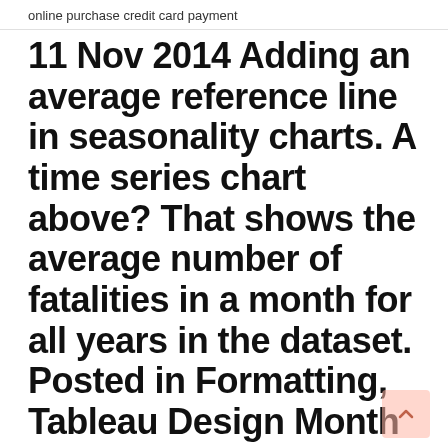online purchase credit card payment
11 Nov 2014 Adding an average reference line in seasonality charts. A time series chart above? That shows the average number of fatalities in a month for all years in the dataset. Posted in Formatting, Tableau Design Month Accordingly, sell signals occur when the price falls